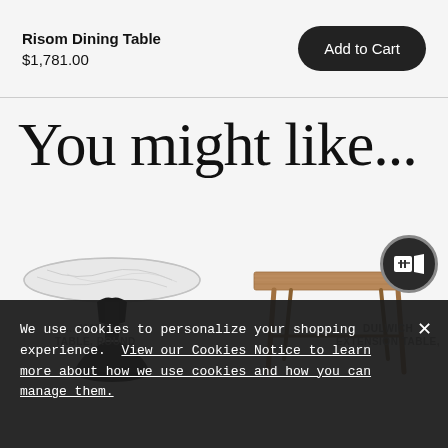Risom Dining Table $1,781.00
You might like...
[Figure (photo): Round white marble-top tulip dining table with black pedestal base]
[Figure (photo): Rectangular wooden dining table with angled legs in warm walnut finish]
We use cookies to personalize your shopping experience. View our Cookies Notice to learn more about how we use cookies and how you can manage them.